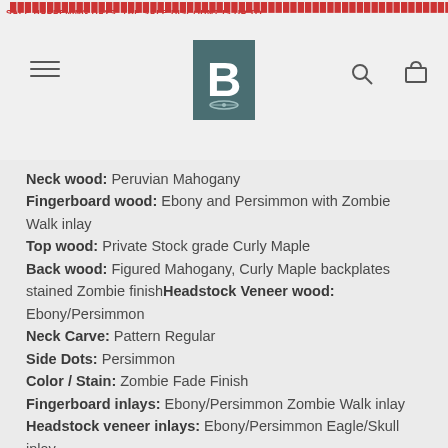B [logo with guitar icon], hamburger menu, search icon, cart icon
Neck wood: Peruvian Mahogany
Fingerboard wood: Ebony and Persimmon with Zombie Walk inlay
Top wood: Private Stock grade Curly Maple
Back wood: Figured Mahogany, Curly Maple backplates stained Zombie finishHeadstock Veneer wood: Ebony/Persimmon
Neck Carve: Pattern Regular
Side Dots: Persimmon
Color / Stain: Zombie Fade Finish
Fingerboard inlays: Ebony/Persimmon Zombie Walk inlay
Headstock veneer inlays: Ebony/Persimmon Eagle/Skull inlay
Finish type: High gloss nitro
Pickups: Treble: \m/ Bass: \m/ black covers with black